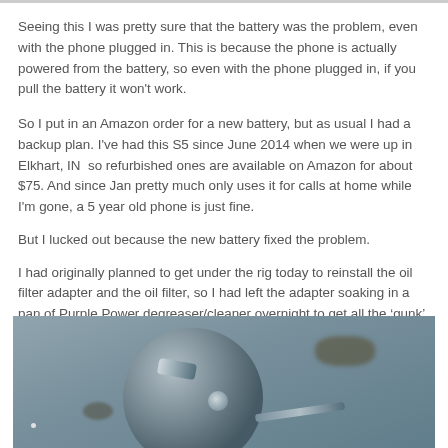Seeing this I was pretty sure that the battery was the problem, even with the phone plugged in. This is because the phone is actually powered from the battery, so even with the phone plugged in, if you pull the battery it won't work.
So I put in an Amazon order for a new battery, but as usual I had a backup plan. I've had this S5 since June 2014 when we were up in Elkhart, IN  so refurbished ones are available on Amazon for about $75. And since Jan pretty much only uses it for calls at home while I'm gone, a 5 year old phone is just fine.
But I lucked out because the new battery fixed the problem.
I had originally planned to get under the rig today to reinstall the oil filter adapter and the oil filter, so I had left the adapter soaking in a pan of Purple Power degreaser/cleaner overnight to get all the ‘gunk’ off.
[Figure (photo): Photo of a dirty oil filter adapter soaking in Purple Power degreaser/cleaner. The metal part is dark and covered in grime and gunk, shown against a light blue background.]